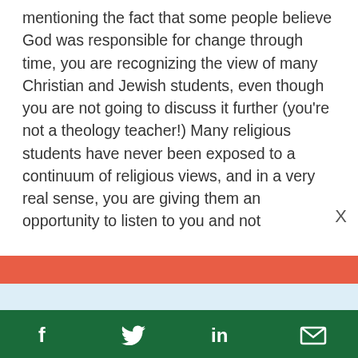mentioning the fact that some people believe God was responsible for change through time, you are recognizing the view of many Christian and Jewish students, even though you are not going to discuss it further (you're not a theology teacher!) Many religious students have never been exposed to a continuum of religious views, and in a very real sense, you are giving them an opportunity to listen to you and not
Support climate change
f  [twitter bird]  in  [email icon]